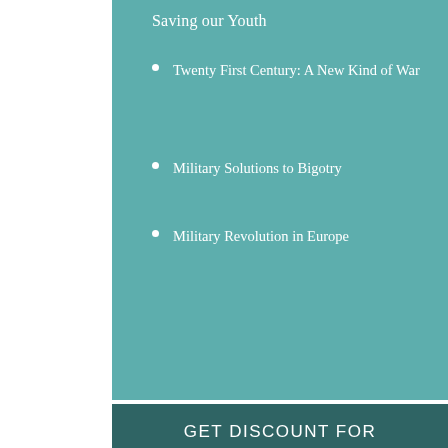Saving our Youth
Twenty First Century: A New Kind of War
Military Solutions to Bigotry
Military Revolution in Europe
GET DISCOUNT FOR
100+
CUSTOM WRITING SERVICES
We'll send you list with 100+ discounts for custom writing services from our